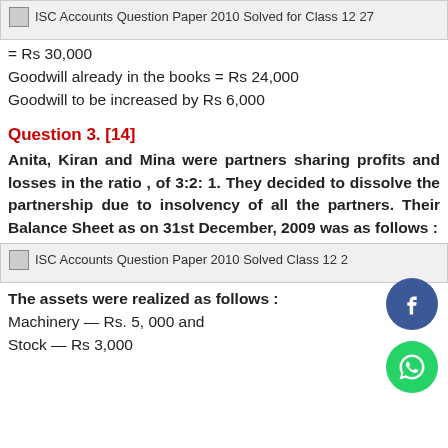[Figure (other): ISC Accounts Question Paper 2010 Solved for Class 12 27 — placeholder image block]
= Rs 30,000
Goodwill already in the books = Rs 24,000
Goodwill to be increased by Rs 6,000
Question 3. [14]
Anita, Kiran and Mina were partners sharing profits and losses in the ratio , of 3:2: 1. They decided to dissolve the partnership due to insolvency of all the partners. Their Balance Sheet as on 31st December, 2009 was as follows :
[Figure (other): ISC Accounts Question Paper 2010 Solved Class 12 2 — placeholder image block]
The assets were realized as follows :
Machinery — Rs. 5, 000 and
Stock — Rs 3,000